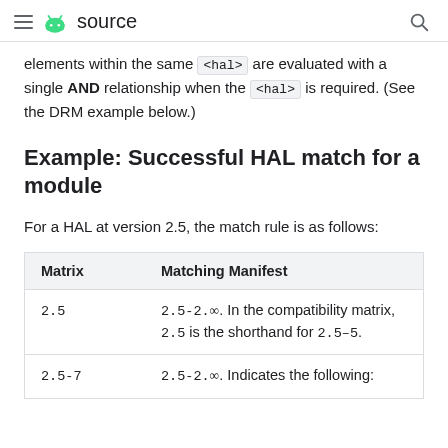≡ 🤖 source 🔍
elements within the same <hal> are evaluated with a single AND relationship when the <hal> is required. (See the DRM example below.)
Example: Successful HAL match for a module
For a HAL at version 2.5, the match rule is as follows:
| Matrix | Matching Manifest |
| --- | --- |
| 2.5 | 2.5-2.∞. In the compatibility matrix, 2.5 is the shorthand for 2.5–5. |
| 2.5-7 | 2.5-2.∞. Indicates the following: |